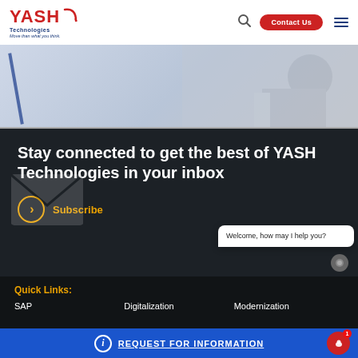YASH Technologies — Move than what you think. | Contact Us
[Figure (screenshot): Hero banner image area — partial view of a website hero section with light blue/grey background and a diagonal blue accent line]
Stay connected to get the best of YASH Technologies in your inbox
Subscribe
Quick Links:
SAP
Digitalization
Modernization
Welcome, how may I help you?
REQUEST FOR INFORMATION